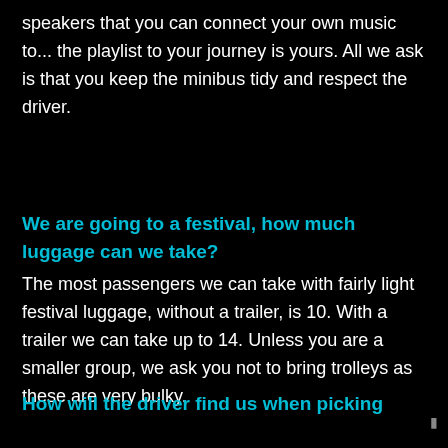speakers that you can connect your own music to... the playlist to your journey is yours. All we ask is that you keep the minibus tidy and respect the driver.
We are going to a festival, how much luggage can we take?
The most passengers we can take with fairly light festival luggage, without a trailer, is 10. With a trailer we can take up to 14. Unless you are a smaller group, we ask you not to bring trolleys as these are very bulky.
How will the driver find us when picking